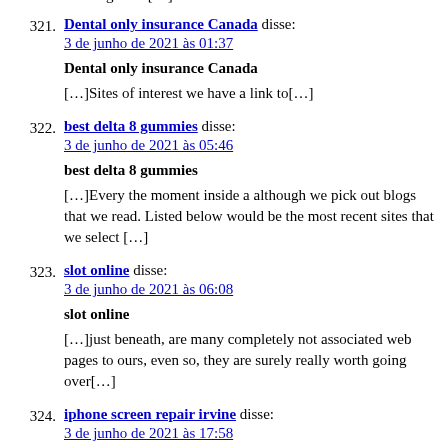[…]Here is a great Blog You may Uncover Fascinating that we Encourage You[…]
321. Dental only insurance Canada disse:
3 de junho de 2021 às 01:37

Dental only insurance Canada

[…]Sites of interest we have a link to[…]
322. best delta 8 gummies disse:
3 de junho de 2021 às 05:46

best delta 8 gummies

[…]Every the moment inside a although we pick out blogs that we read. Listed below would be the most recent sites that we select […]
323. slot online disse:
3 de junho de 2021 às 06:08

slot online

[…]just beneath, are many completely not associated web pages to ours, even so, they are surely really worth going over[…]
324. iphone screen repair irvine disse:
3 de junho de 2021 às 17:58